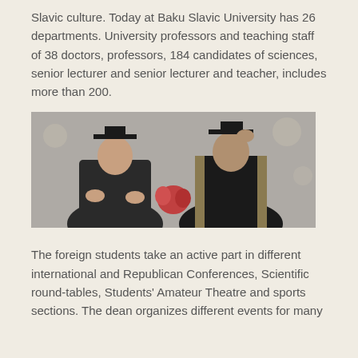Slavic culture. Today at Baku Slavic University has 26 departments. University professors and teaching staff of 38 doctors, professors, 184 candidates of sciences, senior lecturer and senior lecturer and teacher, includes more than 200.
[Figure (photo): Two men in academic graduation gowns and mortarboard caps at a ceremony, one adjusting his cap]
The foreign students take an active part in different international and Republican Conferences, Scientific round-tables, Students' Amateur Theatre and sports sections. The dean organizes different events for many